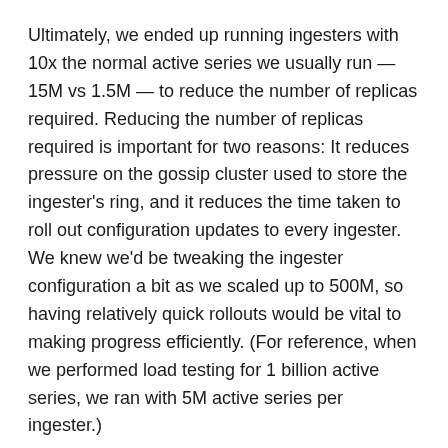Ultimately, we ended up running ingesters with 10x the normal active series we usually run — 15M vs 1.5M — to reduce the number of replicas required. Reducing the number of replicas required is important for two reasons: It reduces pressure on the gossip cluster used to store the ingester's ring, and it reduces the time taken to roll out configuration updates to every ingester. We knew we'd be tweaking the ingester configuration a bit as we scaled up to 500M, so having relatively quick rollouts would be vital to making progress efficiently. (For reference, when we performed load testing for 1 billion active series, we ran with 5M active series per ingester.)
We were able to deliver an initial set of Kubernetes manifests to the customer that showed we were capable of running with 50M active series and 100qpm. So we thought the next steps were simple: From here we just 10x the scale and … right?